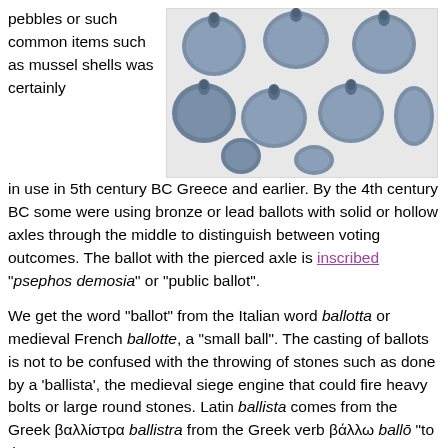pebbles or such common items such as mussel shells was certainly in use in 5th century BC Greece and earlier. By the 4th century BC some were using bronze or lead ballots with solid or hollow axles through the middle to distinguish between voting outcomes. The ballot with the pierced axle is inscribed "psephos demosia" or "public ballot".
[Figure (photo): Photograph of several ancient bronze or lead ballots (disc-shaped with central axles/stems) arranged on a white surface, viewed from above. The ballots are dark blue-grey in color.]
We get the word “ballot” from the Italian word ballotta or medieval French ballotte, a “small ball”. The casting of ballots is not to be confused with the throwing of stones such as done by a ‘ballista’, the medieval siege engine that could fire heavy bolts or large round stones. Latin ballista comes from the Greek βαλλίστρα ballistra from the Greek verb βάλλω ballō “to throw”.